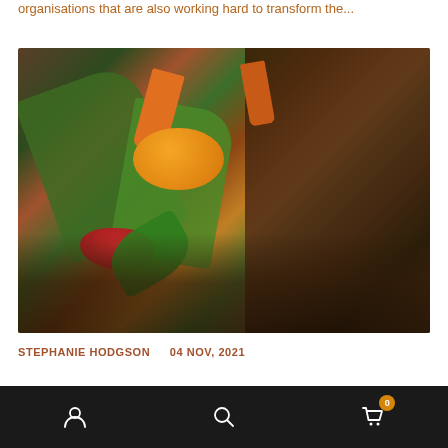organisations that are also working hard to transform the...
[Figure (photo): Overhead close-up photo of a compost pile showing mixed food scraps including vegetables (leek, carrots), fruit (orange, grapefruit), mushrooms, and dark soil mixed with organic matter in various stages of decomposition.]
STEPHANIE HODGSON    04 NOV, 2021
What does...